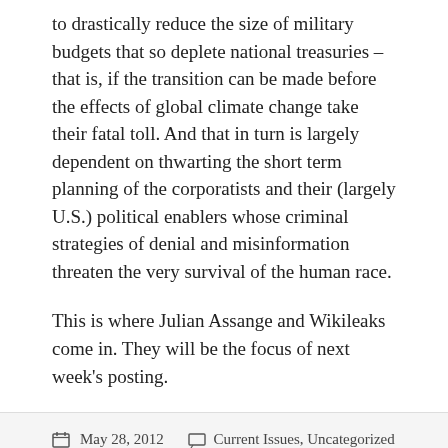to drastically reduce the size of military budgets that so deplete national treasuries – that is, if the transition can be made before the effects of global climate change take their fatal toll. And that in turn is largely dependent on thwarting the short term planning of the corporatists and their (largely U.S.) political enablers whose criminal strategies of denial and misinformation threaten the very survival of the human race.
This is where Julian Assange and Wikileaks come in. They will be the focus of next week's posting.
May 28, 2012  Current Issues, Uncategorized  Leave a comment
Liberation Theology and the